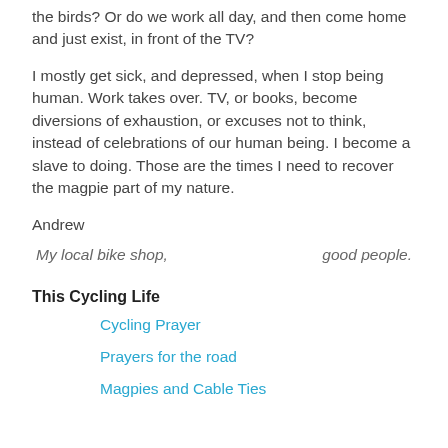the birds? Or do we work all day, and then come home and just exist, in front of the TV?
I mostly get sick, and depressed, when I stop being human. Work takes over. TV, or books, become diversions of exhaustion, or excuses not to think, instead of celebrations of our human being. I become a slave to doing. Those are the times I need to recover the magpie part of my nature.
Andrew
My local bike shop,                                     good people.
This Cycling Life
Cycling Prayer
Prayers for the road
Magpies and Cable Ties